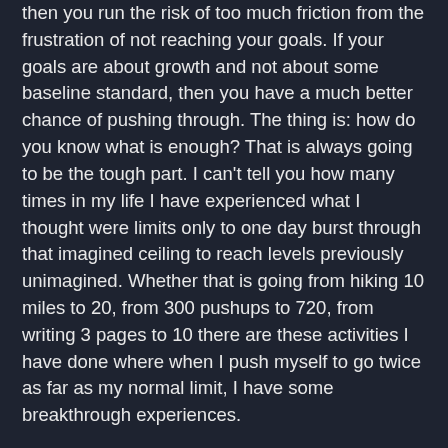then you run the risk of too much friction from the frustration of not reaching your goals. If your goals are about growth and not about some baseline standard, then you have a much better chance of pushing through. The thing is: how do you know what is enough? That is always going to be the tough part. I can't tell you how many times in my life I have experienced what I thought were limits only to one day burst through that imagined ceiling to reach levels previously unimagined. Whether that is going from hiking 10 miles to 20, from 300 pushups to 720, from writing 3 pages to 10 there are these activities I have done where when I push myself to go twice as far as my normal limit, I have some breakthrough experiences.
The thing is, it takes a lot of discipline to break through those barriers of discomfort. For me, the hardest part is the decision to begin. Once I've committed to something, I generally will put my shoulder to the grindstone and get